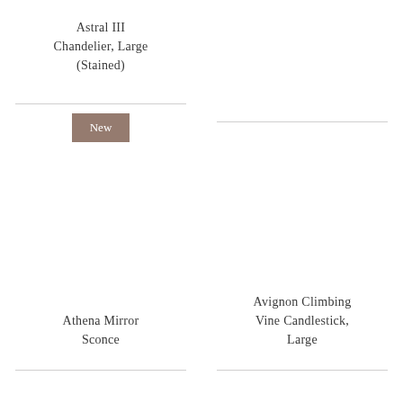Astral III Chandelier, Large (Stained)
[Figure (other): New badge - brown rectangle with white text 'New']
Athena Mirror Sconce
Avignon Climbing Vine Candlestick, Large